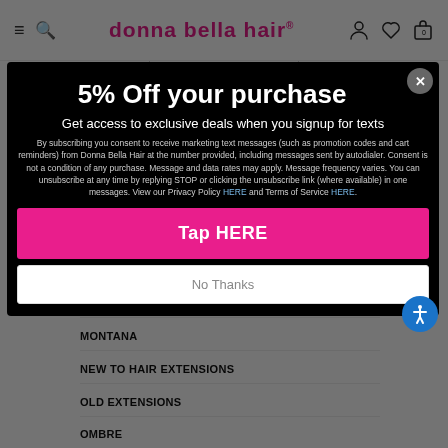donna bella hair® — Navigation: SHOP HAIR | GUIDE ME | HELP CENTER
5% Off your purchase
Get access to exclusive deals when you signup for texts
By subscribing you consent to receive marketing text messages (such as promotion codes and cart reminders) from Donna Bella Hair at the number provided, including messages sent by autodialer. Consent is not a condition of any purchase. Message and data rates may apply. Message frequency varies. You can unsubscribe at any time by replying STOP or clicking the unsubscribe link (where available) in one messages. View our Privacy Policy HERE and Terms of Service HERE.
Tap HERE
No Thanks
MICRO-LINK HAIR EXTENSIONS
MONTANA
NEW TO HAIR EXTENSIONS
OLD EXTENSIONS
OMBRE